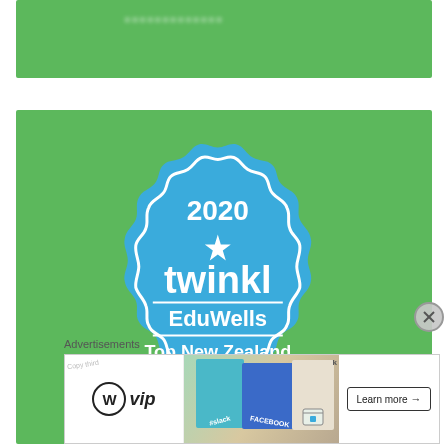[Figure (screenshot): Top green banner with blurred/redacted text]
[Figure (illustration): Twinkl EduWells 2020 Top New Zealand badge on green background — a blue scalloped badge with white text reading '2020', 'twinkl', 'EduWells', 'Top New Zealand']
Advertisements
[Figure (screenshot): Advertisement banner showing WordPress VIP logo on left, colorful social media book covers in middle (Facebook, Slack etc.), and a 'Learn more →' button on right]